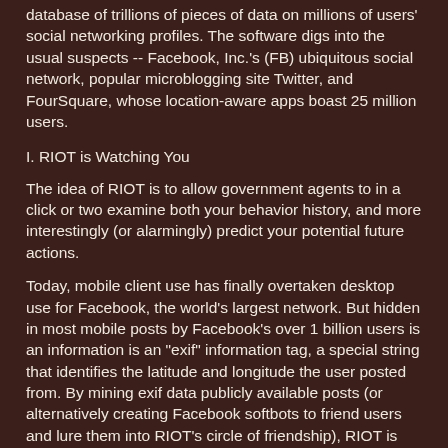database of trillions of pieces of data on millions of users' social networking profiles. The software digs into the usual suspects -- Facebook, Inc.'s (FB) ubiquitous social network, popular microblogging site Twitter, and FourSquare, whose location-aware apps boast 25 million users.
I. RIOT is Watching You
The idea of RIOT is to allow government agents to in a click or two examine both your behavior history, and more interestingly (or alarmingly) predict your potential future actions.
Today, mobile client use has finally overtaken desktop use for Facebook, the world's largest network. But hidden in most mobile posts by Facebook's over 1 billion users is an information is an "exif" information tag, a special string that identifies the latitude and longitude the user posted from. By mining exif data publicly available posts (or alternatively creating Facebook softbots to friend users and lure them into RIOT's circle of friendship), RIOT is capable of tracking citizens' daily movements.